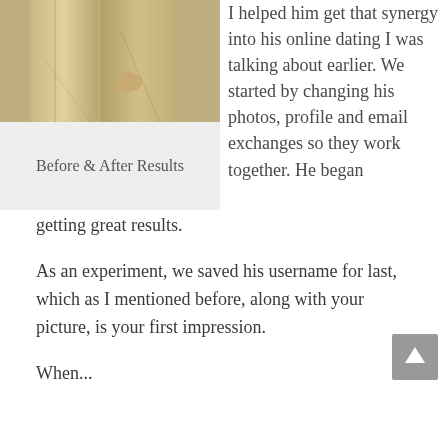[Figure (photo): Two people standing closely together, wearing light khaki/beige clothing, torsos and lower bodies visible]
Before & After Results
I helped him get that synergy into his online dating I was talking about earlier. We started by changing his photos, profile and email exchanges so they work together. He began getting great results.
As an experiment, we saved his username for last, which as I mentioned before, along with your picture, is your first impression.
[Figure (other): Back to top arrow button (grey square with upward arrow)]
When...